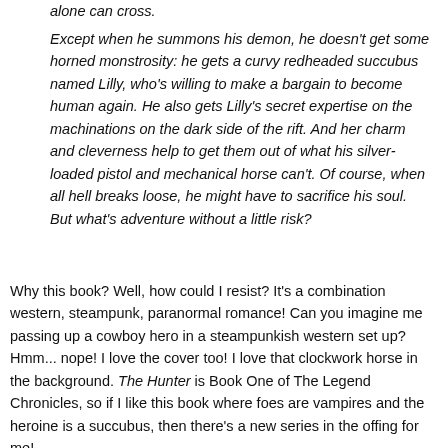alone can cross.
Except when he summons his demon, he doesn't get some horned monstrosity: he gets a curvy redheaded succubus named Lilly, who's willing to make a bargain to become human again. He also gets Lilly's secret expertise on the machinations on the dark side of the rift. And her charm and cleverness help to get them out of what his silver-loaded pistol and mechanical horse can't. Of course, when all hell breaks loose, he might have to sacrifice his soul. But what's adventure without a little risk?
Why this book? Well, how could I resist? It's a combination western, steampunk, paranormal romance! Can you imagine me passing up a cowboy hero in a steampunkish western set up? Hmm... nope! I love the cover too! I love that clockwork horse in the background. The Hunter is Book One of The Legend Chronicles, so if I like this book where foes are vampires and the heroine is a succubus, then there's a new series in the offing for me!